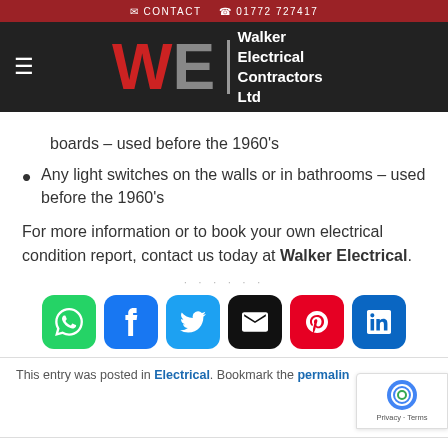CONTACT   01772 727417
[Figure (logo): Walker Electrical Contractors Ltd logo with large red W and grey E letters with company name text]
boards – used before the 1960's
Any light switches on the walls or in bathrooms – used before the 1960's
For more information or to book your own electrical condition report, contact us today at Walker Electrical.
[Figure (infographic): Row of social sharing buttons: WhatsApp (green), Facebook (blue), Twitter (blue), Email (black), Pinterest (red), LinkedIn (blue)]
This entry was posted in Electrical. Bookmark the permalink
WALKER ELECTRICAL SERVICES